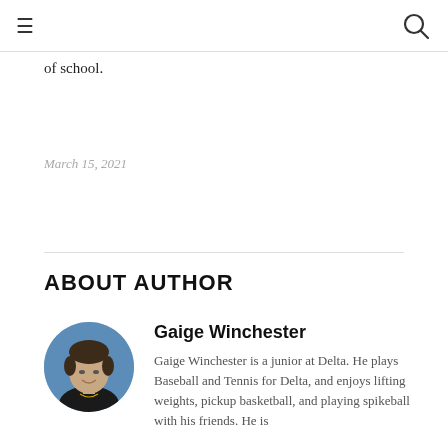≡ [search icon]
of school.
March 15, 2021
ABOUT AUTHOR
[Figure (photo): Circular portrait photo of Gaige Winchester, a young man wearing a black shirt and necklace, smiling, with a blue sky background.]
Gaige Winchester
Gaige Winchester is a junior at Delta. He plays Baseball and Tennis for Delta, and enjoys lifting weights, pickup basketball, and playing spikeball with his friends. He is